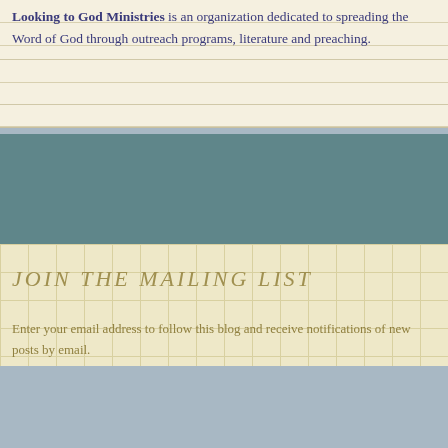Looking to God Ministries is an organization dedicated to spreading the Word of God through outreach programs, literature and preaching.
[Figure (other): Solid teal/dark cyan colored rectangle block used as a visual separator or image placeholder]
JOIN THE MAILING LIST
Enter your email address to follow this blog and receive notifications of new posts by email.